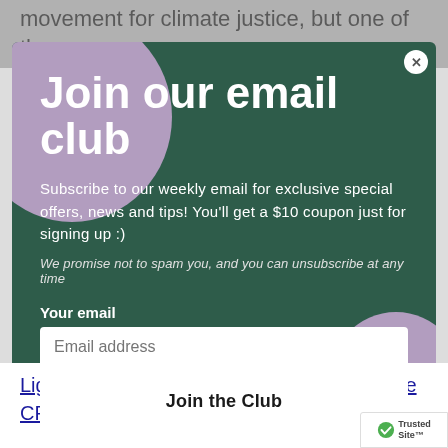movement for climate justice, but one of the
Join our email club
Subscribe to our weekly email for exclusive special offers, news and tips! You'll get a $10 coupon just for signing up :)
We promise not to spam you, and you can unsubscribe at any time
Your email
Lighting of the Lights in Victoria Park and the CP Holiday Train stopping on Richmon